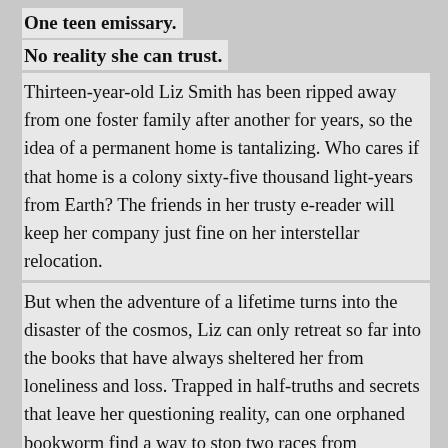One teen emissary.
No reality she can trust.
Thirteen-year-old Liz Smith has been ripped away from one foster family after another for years, so the idea of a permanent home is tantalizing. Who cares if that home is a colony sixty-five thousand light-years from Earth? The friends in her trusty e-reader will keep her company just fine on her interstellar relocation.
But when the adventure of a lifetime turns into the disaster of the cosmos, Liz can only retreat so far into the books that have always sheltered her from loneliness and loss. Trapped in half-truths and secrets that leave her questioning reality, can one orphaned bookworm find a way to stop two races from destroying each other … and somehow write a happy ending to her own story?